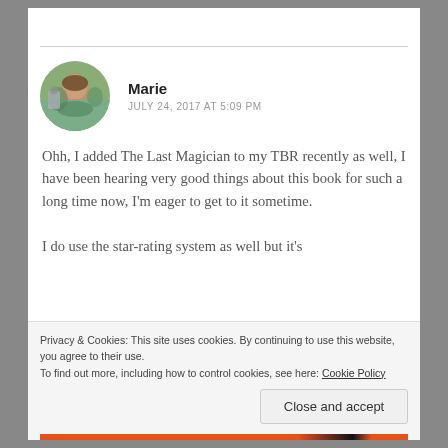[Figure (photo): Circular avatar photo of commenter Marie, showing a person outdoors near water and greenery]
Marie
JULY 24, 2017 AT 5:09 PM
Ohh, I added The Last Magician to my TBR recently as well, I have been hearing very good things about this book for such a long time now, I'm eager to get to it sometime.
I do use the star-rating system as well but it's
Privacy & Cookies: This site uses cookies. By continuing to use this website, you agree to their use.
To find out more, including how to control cookies, see here: Cookie Policy
Close and accept